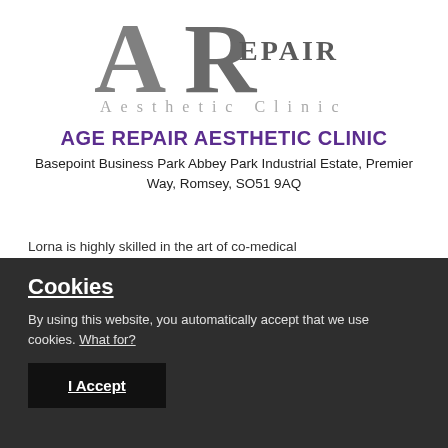[Figure (logo): AR Repair Aesthetic Clinic logo — stylized overlapping A and R letterforms in dark grey/charcoal above the text 'Aesthetic Clinic' in light grey spaced lettering]
AGE REPAIR AESTHETIC CLINIC
Basepoint Business Park Abbey Park Industrial Estate, Premier Way, Romsey, SO51 9AQ
Lorna is highly skilled in the art of co-medical
Cookies
By using this website, you automatically accept that we use cookies. What for?
I Accept